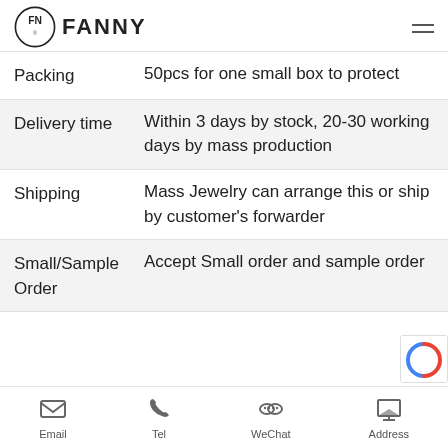FANNY
| Field | Value |
| --- | --- |
| Packing | 50pcs for one small box to protect |
| Delivery time | Within 3 days by stock, 20-30 working days by mass production |
| Shipping | Mass Jewelry can arrange this or ship by customer's forwarder |
| Small/Sample Order | Accept Small order and sample order |
Email | Tel | WeChat | Address